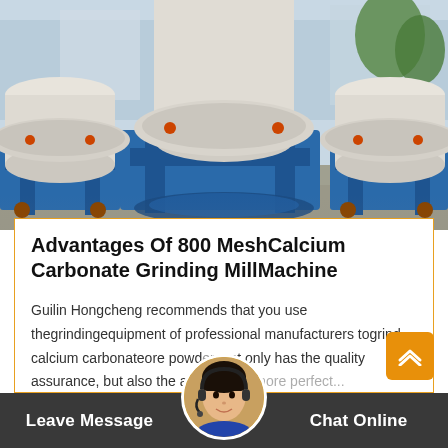[Figure (photo): Industrial calcium carbonate grinding mill machines (large white cylindrical mills on blue metal frames) photographed outdoors at a manufacturing facility.]
Advantages Of 800 MeshCalcium Carbonate Grinding MillMachine
Guilin Hongcheng recommends that you use thegrindingequipment of professional manufacturers togrind calcium carbonateore powder, not only has the quality assurance, but also the after-sale service is more perfect...
Leave Message  Chat Online